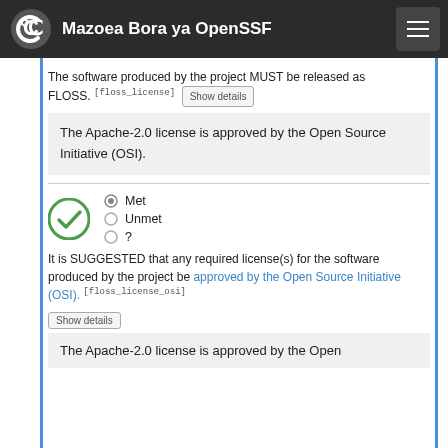Mazoea Bora ya OpenSSF
The software produced by the project MUST be released as FLOSS. [floss_license] Show details
The Apache-2.0 license is approved by the Open Source Initiative (OSI).
Met / Unmet / ?
It is SUGGESTED that any required license(s) for the software produced by the project be approved by the Open Source Initiative (OSI). [floss_license_osi] Show details
The Apache-2.0 license is approved by the Open